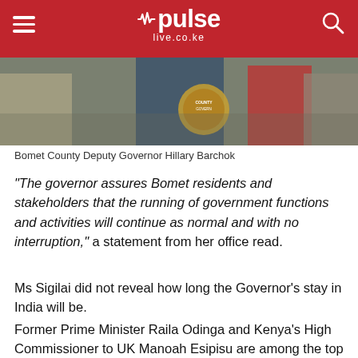pulse live.co.ke
[Figure (photo): Bomet County Deputy Governor Hillary Barchok at an outdoor public event, crowd visible in background, county government seal/lectern visible]
Bomet County Deputy Governor Hillary Barchok
"The governor assures Bomet residents and stakeholders that the running of government functions and activities will continue as normal and with no interruption," a statement from her office read.
Ms Sigilai did not reveal how long the Governor's stay in India will be.
Former Prime Minister Raila Odinga and Kenya's High Commissioner to UK Manoah Esipisu are among the top dignitaries who visited Governor Laboso at the London